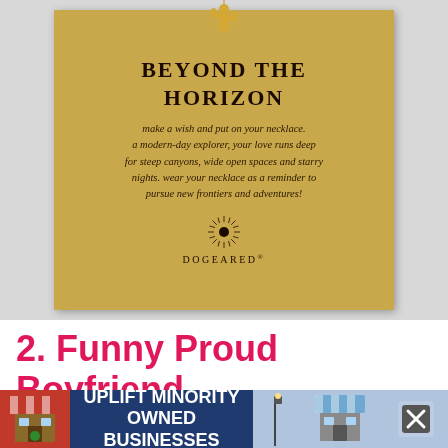[Figure (photo): Dogeared jewelry gift card with golden tan background. Shows a gold cactus pendant necklace at top, title 'BEYOND THE HORIZON' in serif bold uppercase, followed by italicized inspirational text, and the Dogeared brand logo at the bottom.]
2. Funny Proud Boyfriend Mug
[Figure (photo): Advertisement banner: 'UPLIFT MINORITY OWNED BUSINESSES' with store icon graphics and close button.]